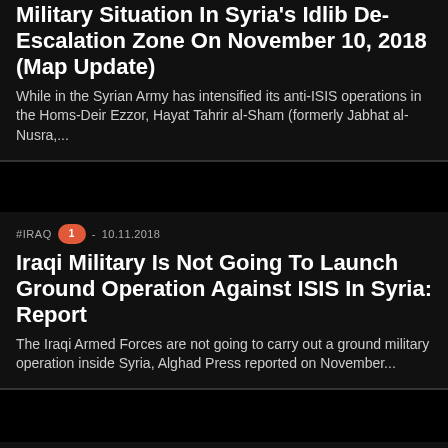Military Situation In Syria's Idlib De-Escalation Zone On November 10, 2018 (Map Update)
While in the Syrian Army has intensified its anti-ISIS operations in the Homs-Deir Ezzor, Hayat Tahrir al-Sham (formerly Jabhat al-Nusra,...
#IRAQ  1  -  10.11.2018
Iraqi Military Is Not Going To Launch Ground Operation Against ISIS In Syria: Report
The Iraqi Armed Forces are not going to carry out a ground military operation inside Syria, Alghad Press reported on November...
#FROMTHEFRONT  1  -  10.11.2018
Map Update: Syrian Army Once Again Renews Its Attempts To Eliminate ISIS Cells In Central Desert
Over the past few days, the Syrian Arab Army (SAA) and its allies, backed up by the Russian Armed Forces,...